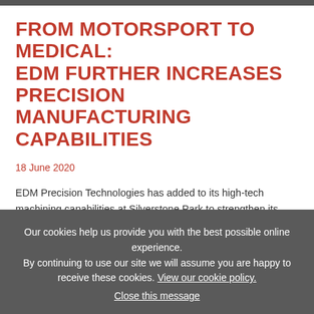FROM MOTORSPORT TO MEDICAL: EDM FURTHER INCREASES PRECISION MANUFACTURING CAPABILITIES
18 June 2020
EDM Precision Technologies has added to its high-tech machining capabilities at Silverstone Park to strengthen its position as one of the UK's leading specialist engineering and...
Our cookies help us provide you with the best possible online experience. By continuing to use our site we will assume you are happy to receive these cookies. View our cookie policy. Close this message